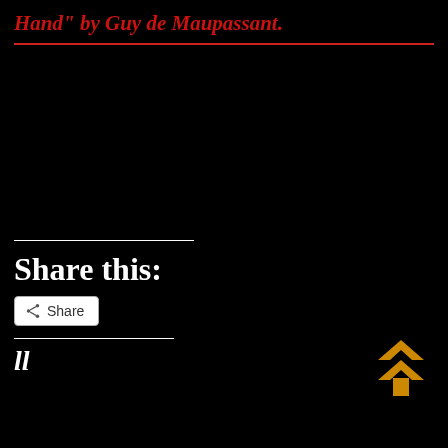Hand" by Guy de Maupassant.
Share this:
[Figure (other): Share button with share icon and label 'Share']
[Figure (other): Orange double-chevron up arrow icon (scroll to top button)]
...